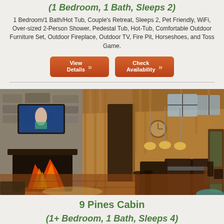(1 Bedroom, 1 Bath, Sleeps 2)
1 Bedroom/1 Bath/Hot Tub, Couple's Retreat, Sleeps 2, Pet Friendly, WiFi, Over-sized 2-Person Shower, Pedestal Tub, Hot-Tub, Comfortable Outdoor Furniture Set, Outdoor Fireplace, Outdoor TV, Fire Pit, Horseshoes, and Toss Game.
[Figure (other): Two orange buttons: 'View Details' with chevrons and 'Check Availability' with chevrons]
[Figure (photo): Interior of a log cabin showing a stone fireplace with fire burning, wood-paneled walls, a kitchen with dark wood cabinets and stainless steel refrigerator, hardwood floors, high vaulted ceilings with windows, and a dining area.]
9 Pines Cabin
(1+ Bedroom, 1 Bath, Sleeps 4)